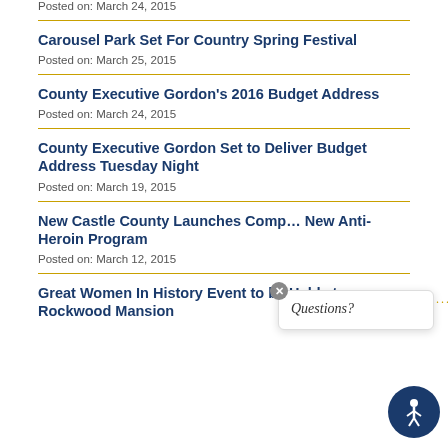Posted on: March 24, 2015
Carousel Park Set For Country Spring Festival
Posted on: March 25, 2015
County Executive Gordon's 2016 Budget Address
Posted on: March 24, 2015
County Executive Gordon Set to Deliver Budget Address Tuesday Night
Posted on: March 19, 2015
New Castle County Launches Comp… New Anti-Heroin Program
Posted on: March 12, 2015
Great Women In History Event to be Held at Rockwood Mansion